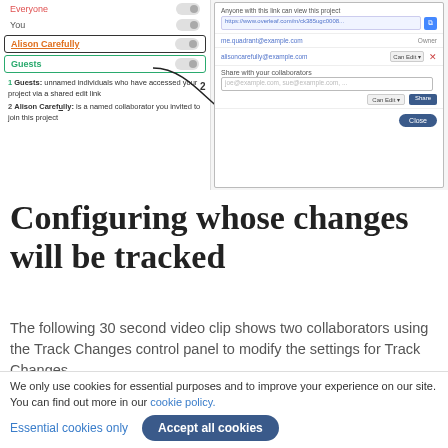[Figure (screenshot): Screenshot of a sharing/collaboration settings panel showing toggle controls for Everyone, You, Alison Carefully, and Guests on the left, with numbered annotations, and a share dialog on the right with link sharing, collaborator email, and invite fields.]
1 Guests: unnamed individuals who have accessed your project via a shared edit link
2 Alison Carefully: is a named collaborator you invited to join this project
Configuring whose changes will be tracked
The following 30 second video clip shows two collaborators using the Track Changes control panel to modify the settings for Track Changes.
We only use cookies for essential purposes and to improve your experience on our site. You can find out more in our cookie policy.
Essential cookies only   Accept all cookies